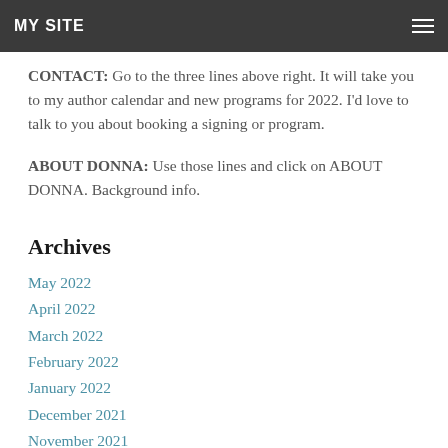MY SITE
CONTACT: Go to the three lines above right. It will take you to my author calendar and new programs for 2022. I'd love to talk to you about booking a signing or program.
ABOUT DONNA: Use those lines and click on ABOUT DONNA. Background info.
Archives
May 2022
April 2022
March 2022
February 2022
January 2022
December 2021
November 2021